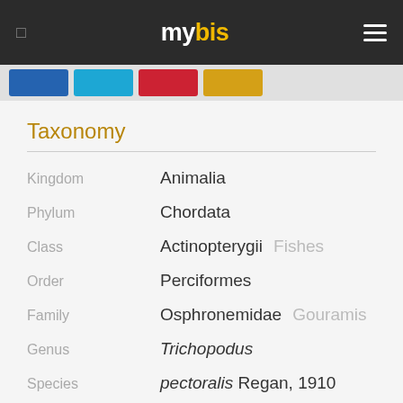mybis
[Figure (other): Navigation tab bar with four colored tabs: blue, cyan, red, yellow]
Taxonomy
| Rank | Name | Common Name |
| --- | --- | --- |
| Kingdom | Animalia |  |
| Phylum | Chordata |  |
| Class | Actinopterygii | Fishes |
| Order | Perciformes |  |
| Family | Osphronemidae | Gouramis |
| Genus | Trichopodus |  |
| Species | pectoralis Regan, 1910 |  |
| Synonym | 1. Trichogaster pectoralis (Regan, 1910) |  |